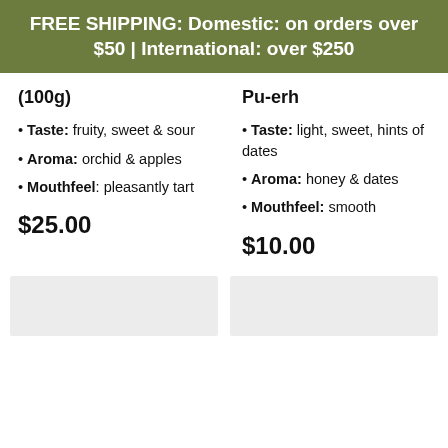FREE SHIPPING: Domestic: on orders over $50 | International: over $250
(100g)
Pu-erh
Taste: fruity, sweet & sour
Aroma: orchid & apples
Mouthfeel: pleasantly tart
Taste: light, sweet, hints of dates
Aroma: honey & dates
Mouthfeel: smooth
$25.00
$10.00
[Figure (other): Two product image placeholders side by side]
[Figure (other): Product image placeholder right column]